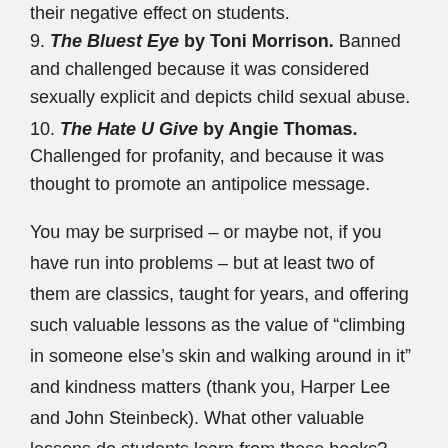9. The Bluest Eye by Toni Morrison. Banned and challenged because it was considered sexually explicit and depicts child sexual abuse.
10. The Hate U Give by Angie Thomas. Challenged for profanity, and because it was thought to promote an antipolice message.
You may be surprised – or maybe not, if you have run into problems – but at least two of them are classics, taught for years, and offering such valuable lessons as the value of “climbing in someone else’s skin and walking around in it” and kindness matters (thank you, Harper Lee and John Steinbeck). What other valuable lessons do students learn from these books?
Note some of the books are a problem, according to the would-be censors,